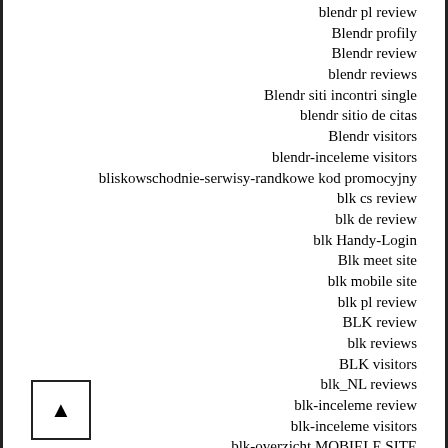blendr pl review
Blendr profily
Blendr review
blendr reviews
Blendr siti incontri single
blendr sitio de citas
Blendr visitors
blendr-inceleme visitors
bliskowschodnie-serwisy-randkowe kod promocyjny
blk cs review
blk de review
blk Handy-Login
Blk meet site
blk mobile site
blk pl review
BLK review
blk reviews
BLK visitors
blk_NL reviews
blk-inceleme review
blk-inceleme visitors
blk-overzicht MOBIELE SITE
bloomington USA login
Blossoms.com find out here
blue payday loans
blued adult dating online
Blued dating site